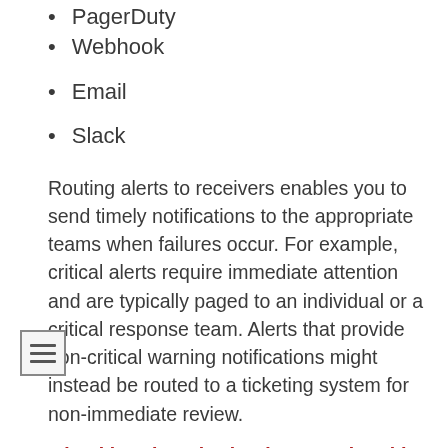PagerDuty
Webhook
Email
Slack
Routing alerts to receivers enables you to send timely notifications to the appropriate teams when failures occur. For example, critical alerts require immediate attention and are typically paged to an individual or a critical response team. Alerts that provide non-critical warning notifications might instead be routed to a ticketing system for non-immediate review.
Checking that alerting is operational by using the watchdog alert
OKD monitoring includes a watchdog alert that fires continuously. Alertmanager repeatedly sends